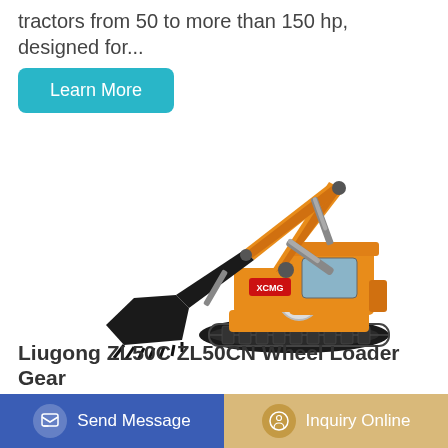tractors from 50 to more than 150 hp, designed for...
Learn More
[Figure (photo): XCMG yellow tracked excavator with extended boom and bucket arm, shown on white background]
Liugong ZL50C ZL50CN Wheel Loader Gear
Send Message
Inquiry Online